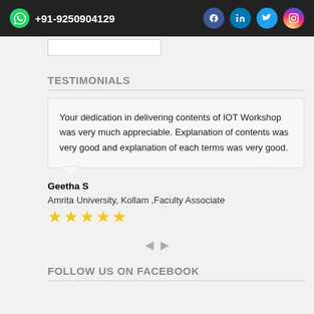+91-9250904129
TESTIMONIALS
Your dedication in delivering contents of IOT Workshop was very much appreciable. Explanation of contents was very good and explanation of each terms was very good.
Geetha S
Amrita University, Kollam ,Faculty Associate
★★★★★
FOLLOW US ON FACEBOOK